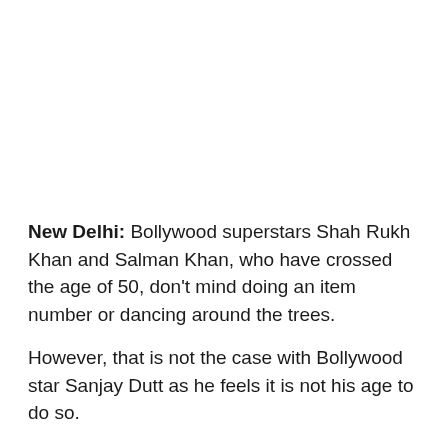New Delhi: Bollywood superstars Shah Rukh Khan and Salman Khan, who have crossed the age of 50, don't mind doing an item number or dancing around the trees.
However, that is not the case with Bollywood star Sanjay Dutt as he feels it is not his age to do so.
Sanju Baba, who is currently flooded with film offers, revealed that he is eyeing films that will suit his age.